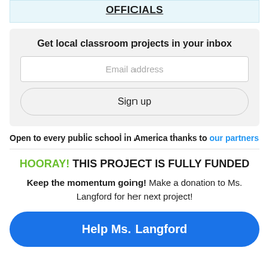OFFICIALS
Get local classroom projects in your inbox
Email address
Sign up
Open to every public school in America thanks to our partners
HOORAY! THIS PROJECT IS FULLY FUNDED
Keep the momentum going! Make a donation to Ms. Langford for her next project!
Help Ms. Langford